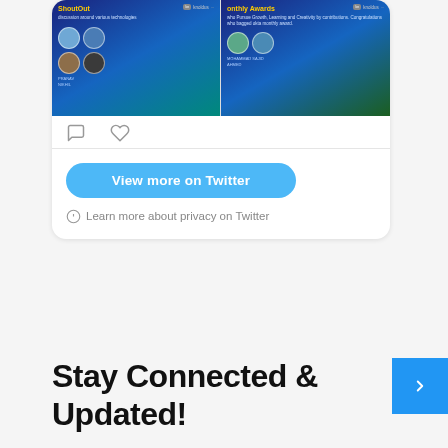[Figure (screenshot): Twitter/social media embed card showing two tweet images side by side: 'ShoutOut' and 'Monthly Awards' from knoldus, with profile avatars, comment and like icons, a 'View more on Twitter' button, and a privacy notice.]
Stay Connected & Updated!